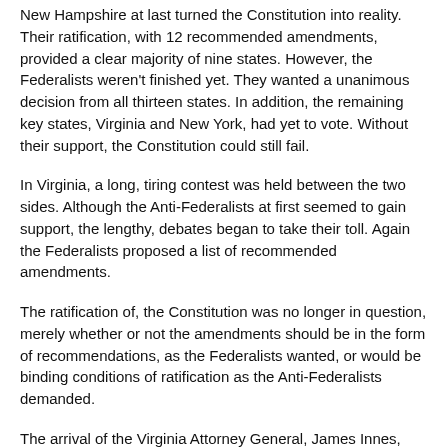New Hampshire at last turned the Constitution into reality. Their ratification, with 12 recommended amendments, provided a clear majority of nine states. However, the Federalists weren't finished yet. They wanted a unanimous decision from all thirteen states. In addition, the remaining key states, Virginia and New York, had yet to vote. Without their support, the Constitution could still fail.
In Virginia, a long, tiring contest was held between the two sides. Although the Anti-Federalists at first seemed to gain support, the lengthy, debates began to take their toll. Again the Federalists proposed a list of recommended amendments.
The ratification of, the Constitution was no longer in question, merely whether or not the amendments should be in the form of recommendations, as the Federalists wanted, or would be binding conditions of ratification as the Anti-Federalists demanded.
The arrival of the Virginia Attorney General, James Innes, proved the Federalists position. He eloquently argued that the Constitution's supporters would willingly back any amendments that did not violate the basic intent of the framers. With that, the vote was cast and the